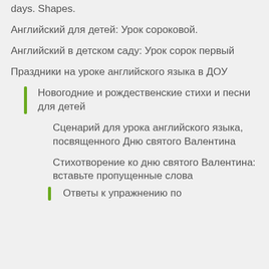days. Shapes.
Английский для детей: Урок сороковой.
Английский в детском саду: Урок сорок первый
Праздники на уроке английского языка в ДОУ
Новогодние и рождественские стихи и песни для детей
Сценарий для урока английского языка, посвященного Дню святого Валентина
Стихотворение ко дню святого Валентина: вставьте пропущенные слова
Ответы к упражнению по